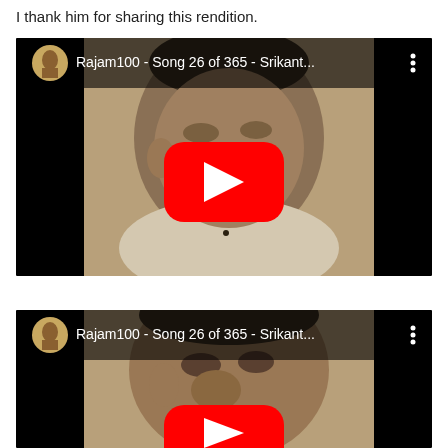I thank him for sharing this rendition.
[Figure (screenshot): YouTube video thumbnail showing 'Rajam100 - Song 26 of 365 - Srikant...' with a sepia-toned portrait photo of a man in white kurta and a red YouTube play button overlay]
[Figure (screenshot): Second YouTube video thumbnail (partially visible) showing 'Rajam100 - Song 26 of 365 - Srikant...' with a close-up sepia portrait and red play button partially visible]